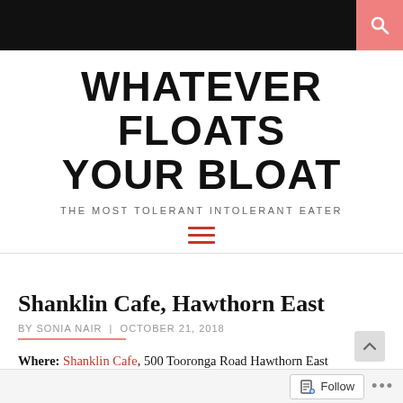WHATEVER FLOATS YOUR BLOAT
THE MOST TOLERANT INTOLERANT EATER
Shanklin Cafe, Hawthorn East
BY SONIA NAIR | OCTOBER 21, 2018
Where: Shanklin Cafe, 500 Tooronga Road Hawthorn East
What: The tallest burger I've ever laid my eyes on